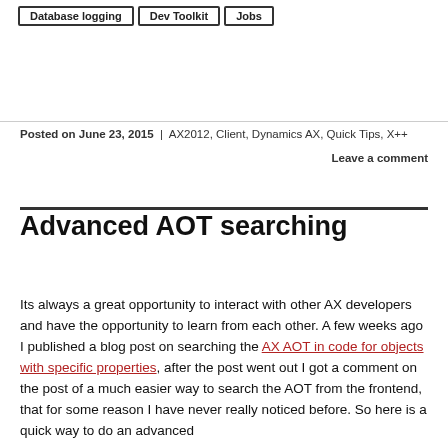Database logging
Dev Toolkit
Jobs
Posted on June 23, 2015 | AX2012, Client, Dynamics AX, Quick Tips, X++ Leave a comment
Advanced AOT searching
Its always a great opportunity to interact with other AX developers and have the opportunity to learn from each other. A few weeks ago I published a blog post on searching the AX AOT in code for objects with specific properties, after the post went out I got a comment on the post of a much easier way to search the AOT from the frontend, that for some reason I have never really noticed before. So here is a quick way to do an advanced